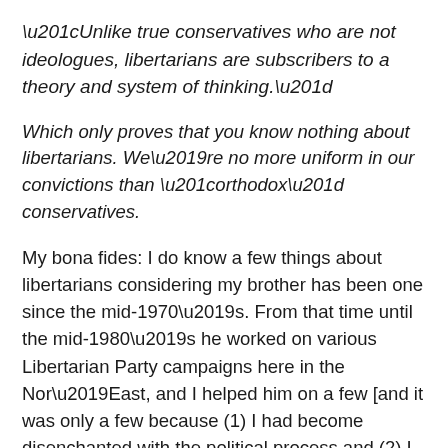“Unlike true conservatives who are not ideologues, libertarians are subscribers to a theory and system of thinking.”
Which only proves that you know nothing about libertarians. We’re no more uniform in our convictions than “orthodox” conservatives.
My bona fides: I do know a few things about libertarians considering my brother has been one since the mid-1970’s. From that time until the mid-1980’s he worked on various Libertarian Party campaigns here in the Nor’East, and I helped him on a few [and it was only a few because (1) I had become disenchanted with the political process and (2) I was actively trying to succeed in the music business]. I seriously flirted with libertarianism in the early to mid-1980’s, and not just the Objectivist version.  I